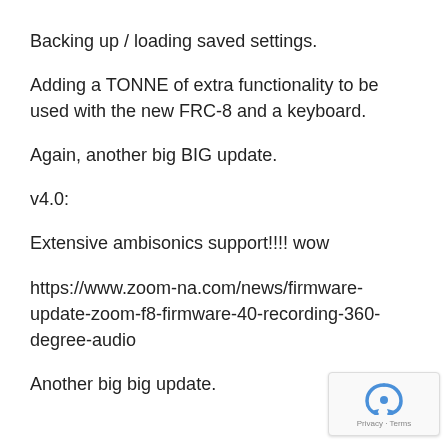Backing up / loading saved settings.
Adding a TONNE of extra functionality to be used with the new FRC-8 and a keyboard.
Again, another big BIG update.
v4.0:
Extensive ambisonics support!!!! wow
https://www.zoom-na.com/news/firmware-update-zoom-f8-firmware-40-recording-360-degree-audio
Another big big update.